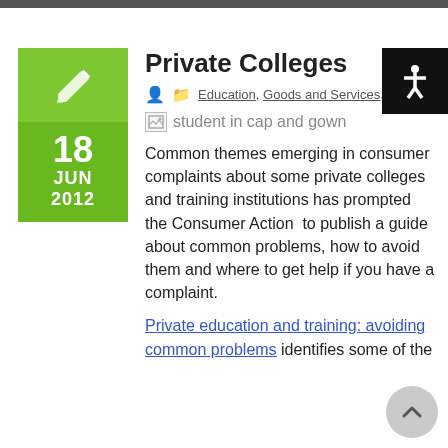Private Colleges
Education, Goods and Services, Other
[Figure (illustration): student in cap and gown (broken image placeholder)]
Common themes emerging in consumer complaints about some private colleges and training institutions has prompted the Consumer Action  to publish a guide about common problems, how to avoid them and where to get help if you have a complaint.
Private education and training: avoiding common problems identifies some of the